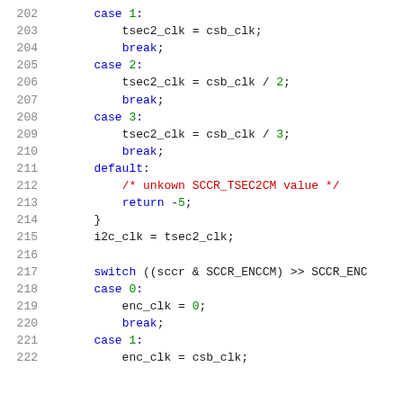Code listing lines 202-222: C switch-case code for tsec2_clk and enc_clk clock calculations